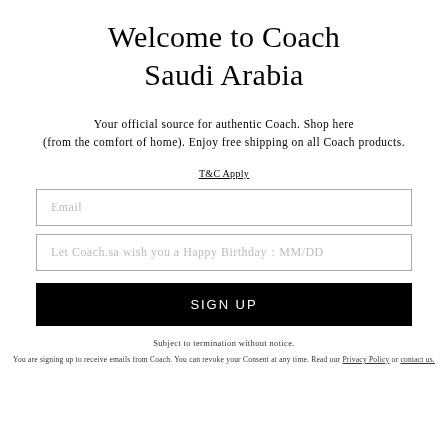Welcome to Coach Saudi Arabia
Your official source for authentic Coach. Shop here (from the comfort of home). Enjoy free shipping on all Coach products.
T&C Apply
Email
Let Coach.sa wish you a Happy Birthday : MM/DD
SIGN UP
Subject to termination without notice.
You are signing up to receive emails from Coach. You can revoke your Consent at any time. Read our Privacy Policy or contact us.